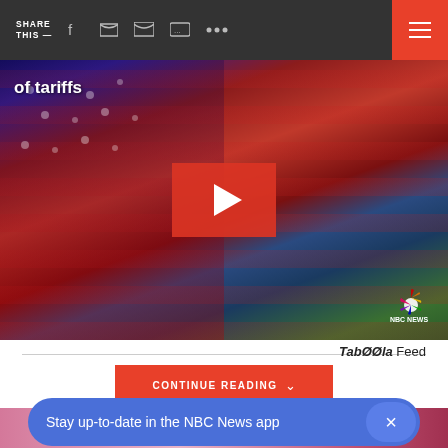SHARE THIS —
[Figure (screenshot): NBC News video thumbnail showing a shipping port with US and Chinese flags overlaid, tinted red. Text 'of tariffs' visible in top left. Large red play button in center. NBC News peacock logo in bottom right corner.]
CONTINUE READING
Taboola Feed
[Figure (photo): Partial photo of a person, cropped, pink/magenta toned background]
Stay up-to-date in the NBC News app